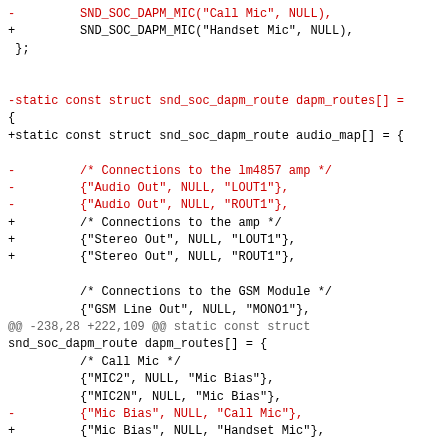Diff/patch code showing changes to snd_soc_dapm_route and audio_map structures in a kernel audio driver, including mic and connection route modifications.